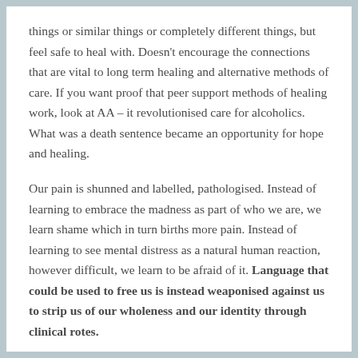things or similar things or completely different things, but feel safe to heal with. Doesn't encourage the connections that are vital to long term healing and alternative methods of care. If you want proof that peer support methods of healing work, look at AA – it revolutionised care for alcoholics. What was a death sentence became an opportunity for hope and healing.
Our pain is shunned and labelled, pathologised. Instead of learning to embrace the madness as part of who we are, we learn shame which in turn births more pain. Instead of learning to see mental distress as a natural human reaction, however difficult, we learn to be afraid of it. Language that could be used to free us is instead weaponised against us to strip us of our wholeness and our identity through clinical rotes.